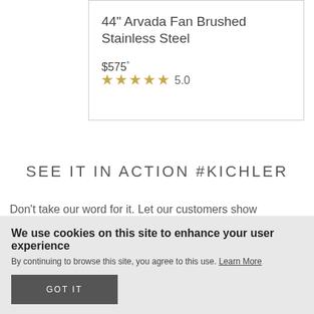44" Arvada Fan Brushed Stainless Steel
$575* ★★★★★ 5.0
SEE IT IN ACTION #KICHLER
Don't take our word for it. Let our customers show
We use cookies on this site to enhance your user experience
By continuing to browse this site, you agree to this use. Learn More
GOT IT